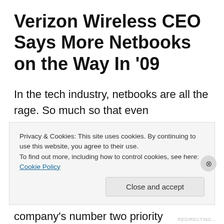Verizon Wireless CEO Says More Netbooks on the Way In '09
In the tech industry, netbooks are all the rage. So much so that even communications providers such as Verizon Wireless and AT&T are jumping on the bandwagon.
In a recent interview, Verizon Wireless CEO Lowell McAdam told me that the company's number two priority
Privacy & Cookies: This site uses cookies. By continuing to use this website, you agree to their use.
To find out more, including how to control cookies, see here: Cookie Policy
Close and accept